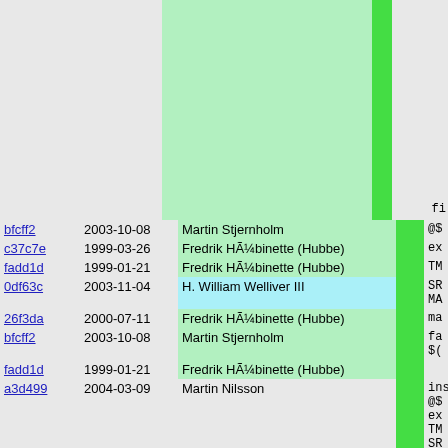| hash | date | author | code |
| --- | --- | --- | --- |
| bfcff2 | 2003-10-08 | Martin Stjernholm | @$ |
| c37c7e | 1999-03-26 | Fredrik HÃ¼binette (Hubbe) | ex |
| fadd1d | 1999-01-21 | Fredrik HÃ¼binette (Hubbe) | TM |
| 0df63c | 2003-11-04 | H. William Welliver III | SR MA |
| 26f3da | 2000-07-11 | Fredrik HÃ¼binette (Hubbe) | ma |
| bfcff2 | 2003-10-08 | Martin Stjernholm | fa $( |
| fadd1d | 1999-01-21 | Fredrik HÃ¼binette (Hubbe) |  |
| a3d499 | 2004-03-09 | Martin Nilsson | install_no @$ ex TM SR MA ma fa -- |